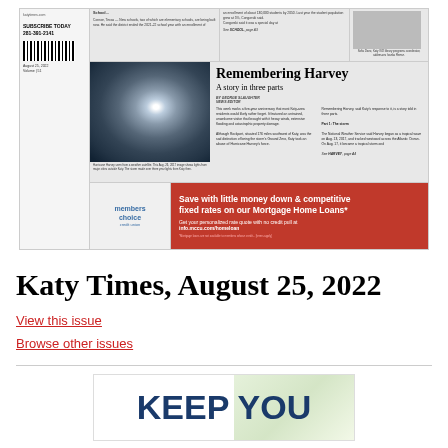[Figure (screenshot): Newspaper front page of the Katy Times showing headline 'Remembering Harvey: A story in three parts' with satellite image of Hurricane Harvey, advertisement for Members Choice mortgage home loans, and other smaller articles.]
Katy Times, August 25, 2022
View this issue
Browse other issues
[Figure (illustration): Bottom advertisement showing 'KEEP YOU' text in large dark blue bold letters with a light floral or nature background.]